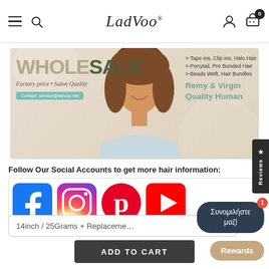LadVoo navigation bar with hamburger menu, search, logo, user icon, cart (0)
[Figure (photo): Wholesale banner with model, product list (Tape ins, Clip ins, Halo Hair; Ponytail, Pre Bonded Hair; Beads Weft, Hair Bundles), Remy & Virgin Quality Human hair, Factory price - Salon Quality, Contact: service@laavoo.net]
Follow Our Social Accounts to get more hair information:
[Figure (logo): Facebook, Instagram, Pinterest, YouTube social media icons]
14inch / 25Grams + Replaceme...
ADD TO CART
Συνομιλήστε μαζί
Rewards